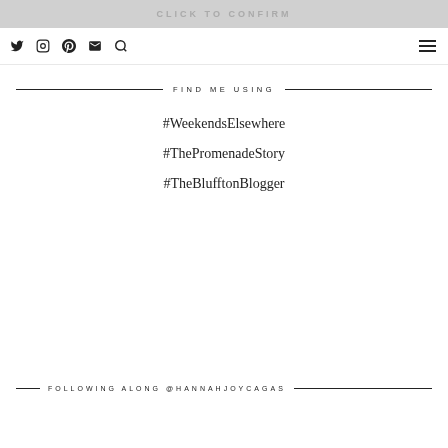CLICK TO CONFIRM
Twitter, Instagram, Pinterest, Email, Search, Menu icons
FIND ME USING
#WeekendsElsewhere
#ThePromenadeStory
#TheBlufftonBlogger
FOLLOWING ALONG @HANNAHJOYCAGAS